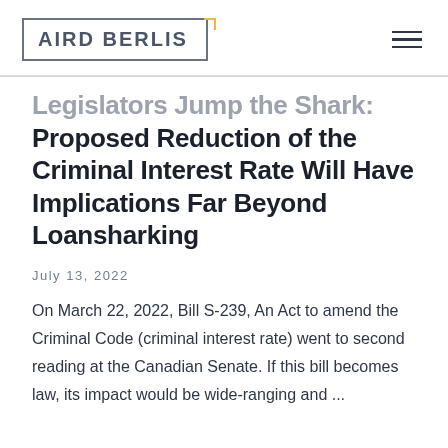[Figure (logo): Aird Berlis law firm logo with grey border and yellow corner accent, hamburger menu icon on right]
Legislators Jump the Shark: Proposed Reduction of the Criminal Interest Rate Will Have Implications Far Beyond Loansharking
July 13, 2022
On March 22, 2022, Bill S-239, An Act to amend the Criminal Code (criminal interest rate) went to second reading at the Canadian Senate. If this bill becomes law, its impact would be wide-ranging and ...